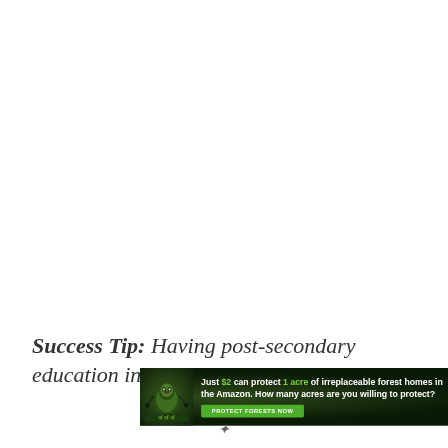Success Tip: Having post-secondary education in a
[Figure (infographic): Advertisement banner for Amazon forest protection. Shows a sloth image on dark green forest background. Text reads: 'Just $2 can protect 1 acre of irreplaceable forest homes in the Amazon. How many acres are you willing to protect?' with a green 'PROTECT FORESTS NOW' button.]